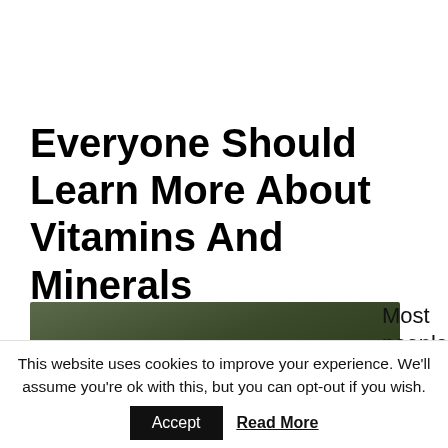Everyone Should Learn More About Vitamins And Minerals
[Figure (photo): A plate of dark leafy greens and vegetables on a table with a blue patterned cloth]
Most people
This website uses cookies to improve your experience. We'll assume you're ok with this, but you can opt-out if you wish.
Accept
Read More